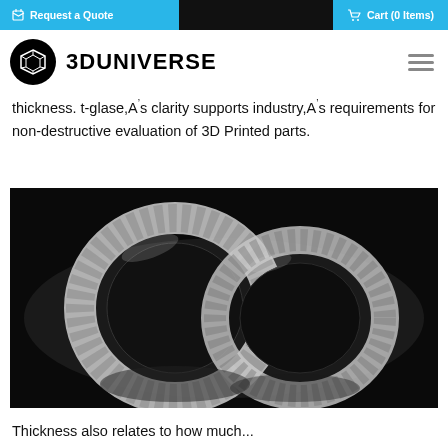Request a Quote | Cart (0 Items)
3DUNIVERSE
thickness. t-glase,AOs clarity supports industry,AOs requirements for non-destructive evaluation of 3D Printed parts.
[Figure (photo): Two transparent 3D printed rings with geometric faceted surface pattern, photographed on a black reflective background.]
Thickness also relates to how much...